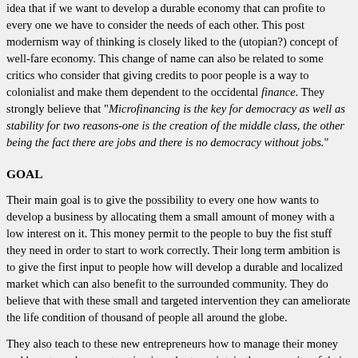idea that if we want to develop a durable economy that can profite to every one we have to consider the needs of each other. This post modernism way of thinking is closely liked to the (utopian?) concept of well-fare economy. This change of name can also be related to some critics who consider that giving credits to poor people is a way to colonialist and make them dependent to the occidental finance. They strongly believe that "Microfinancing is the key for democracy as well as stability for two reasons-one is the creation of the middle class, the other being the fact there are jobs and there is no democracy without jobs."
GOAL
Their main goal is to give the possibility to every one how wants to develop a business by allocating them a small amount of money with a low interest on it. This money permit to the people to buy the fist stuff they need in order to start to work correctly. Their long term ambition is to give the first input to people how will develop a durable and localized market which can also benefit to the surrounded community. They do believe that with these small and targeted intervention they can ameliorate the life condition of thousand of people all around the globe.
They also teach to these new entrepreneurs how to manage their money and how to make smart saving in order to maintain the prosperity of their business. They give them access to a bank account and they teach them how to use for exemple their smartphone